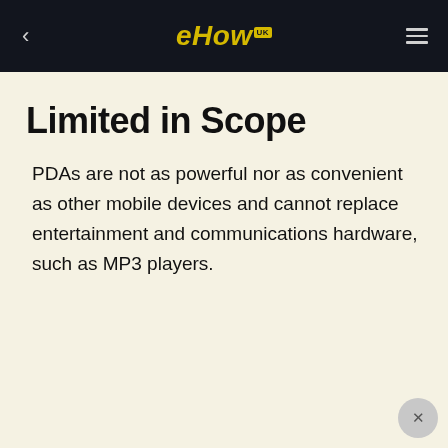eHow UK
Limited in Scope
PDAs are not as powerful nor as convenient as other mobile devices and cannot replace entertainment and communications hardware, such as MP3 players.